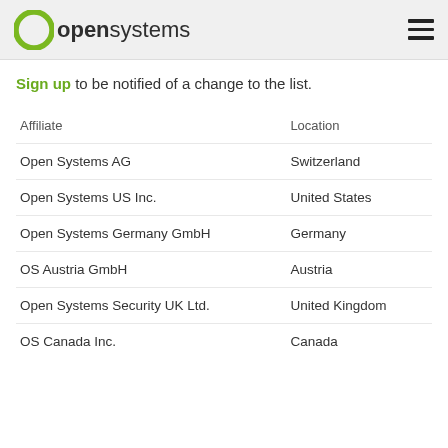opensystems
Sign up to be notified of a change to the list.
| Affiliate | Location |
| --- | --- |
| Open Systems AG | Switzerland |
| Open Systems US Inc. | United States |
| Open Systems Germany GmbH | Germany |
| OS Austria GmbH | Austria |
| Open Systems Security UK Ltd. | United Kingdom |
| OS Canada Inc. | Canada |